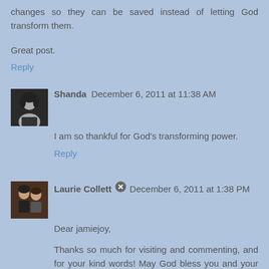changes so they can be saved instead of letting God transform them.
Great post.
Reply
Shanda   December 6, 2011 at 11:38 AM
I am so thankful for God's transforming power.
Reply
Laurie Collett   December 6, 2011 at 1:38 PM
Dear jamiejoy,
Thanks so much for visiting and commenting, and for your kind words! May God bless you and your ministry! Laurie
Reply